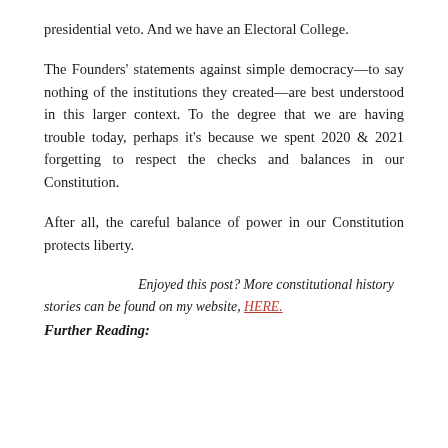presidential veto. And we have an Electoral College.
The Founders' statements against simple democracy—to say nothing of the institutions they created—are best understood in this larger context. To the degree that we are having trouble today, perhaps it's because we spent 2020 & 2021 forgetting to respect the checks and balances in our Constitution.
After all, the careful balance of power in our Constitution protects liberty.
Enjoyed this post? More constitutional history stories can be found on my website, HERE.
Further Reading: